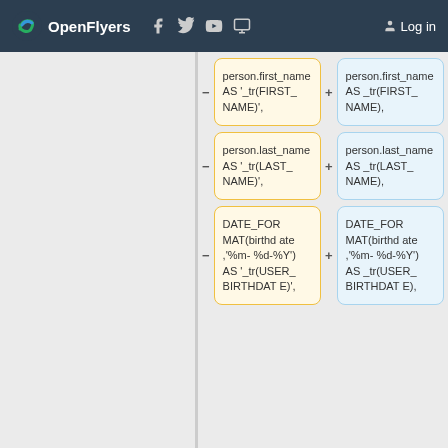OpenFlyers [navigation bar with social icons and Log in link]
[Figure (screenshot): A diff view showing two columns of SQL code blocks. Left column (yellow, minus) and right column (blue, plus) show three code differences: 1) person.first_name AS '_tr(FIRST_NAME)', vs person.first_name AS _tr(FIRST_NAME), 2) person.last_name AS '_tr(LAST_NAME)', vs person.last_name AS _tr(LAST_NAME), 3) DATE_FORMAT(birthdate ,'%m-%d-%Y') AS '_tr(USER_BIRTHDATE)', vs DATE_FORMAT(birthdate ,'%m-%d-%Y') AS _tr(USER_BIRTHDATE),]